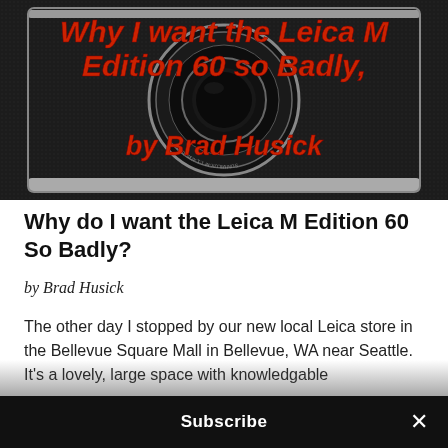[Figure (photo): Dark Leica camera body with lens, overlaid with red bold italic text reading 'Why I want the Leica M Edition 60 so Badly, by Brad Husick' on a dark textured background]
Why do I want the Leica M Edition 60 So Badly?
by Brad Husick
The other day I stopped by our new local Leica store in the Bellevue Square Mall in Bellevue, WA near Seattle. It's a lovely, large space with knowledgable
Subscribe